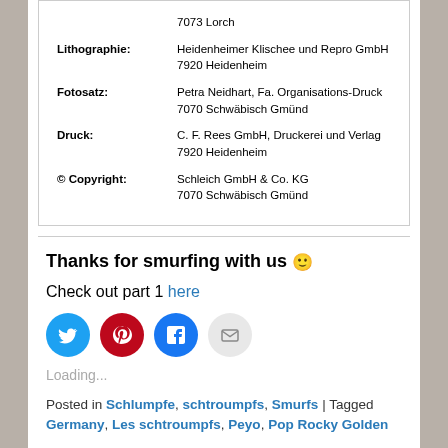| Lithographie: | Heidenheimer Klischee und Repro GmbH
7920 Heidenheim |
| Fotosatz: | Petra Neidhart, Fa. Organisations-Druck
7070 Schwäbisch Gmünd |
| Druck: | C. F. Rees GmbH, Druckerei und Verlag
7920 Heidenheim |
| © Copyright: | Schleich GmbH & Co. KG
7070 Schwäbisch Gmünd |
Thanks for smurfing with us 🙂
Check out part 1 here
[Figure (other): Social sharing buttons: Twitter (blue circle), Pinterest (red circle), Facebook (dark blue circle), Email (grey circle)]
Loading...
Posted in Schlumpfe, schtroumpfs, Smurfs | Tagged Germany, Les schtroumpfs, Peyo, Pop Rocky Golden